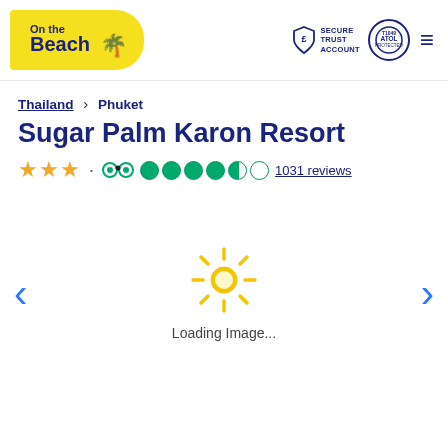[Figure (logo): On the Beach logo — yellow pennant shape with dark blue text and palm tree]
[Figure (logo): Secure Trust Account shield icon with pound sign]
[Figure (logo): ATOL protected circular badge]
Thailand > Phuket
Sugar Palm Karon Resort
★★★ · (TripAdvisor owl) ●●●●◑○ 1031 reviews
[Figure (illustration): Loading image area with left and right navigation arrows, sun icon spinner, and 'Loading Image...' text]